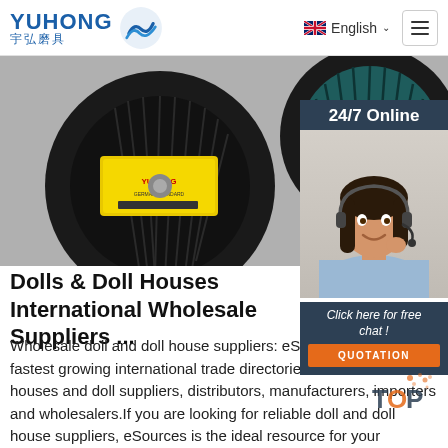YUHONG 宇弘磨具 | English | Menu
[Figure (photo): Product photo showing abrasive flap discs / grinding wheels, one with yellow label, one teal/green, on a grey background]
[Figure (photo): 24/7 Online customer service representative - woman with headset smiling, with dark blue overlay box showing '24/7 Online', 'Click here for free chat!' and orange QUOTATION button]
Dolls & Doll Houses International Wholesale Suppliers ...
Wholesale doll and doll house suppliers: eSources is one of the fastest growing international trade directories of wholesale doll houses and doll suppliers, distributors, manufacturers, importers and wholesalers.If you are looking for reliable doll and doll house suppliers, eSources is the ideal resource for your sourcing needs.. If you are a supplier of doll houses, and would like to